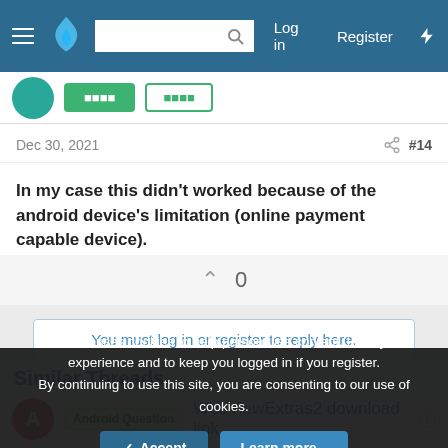[Figure (screenshot): Forum navigation bar with hamburger menu, flame logo, search box, Log in, Register, and lightning bolt icon]
[Figure (screenshot): Partial top strip showing teal avatar circle and two green buttons]
Dec 30, 2021   #14
In my case this didn't worked because of the android device's limitation (online payment capable device).
0
You must log in or register to reply here.
Similar Threads
Android Question   WebViewExtras2 download link
This site uses cookies to help personalise content, tailor your experience and to keep you logged in if you register. By continuing to use this site, you are consenting to our use of cookies.